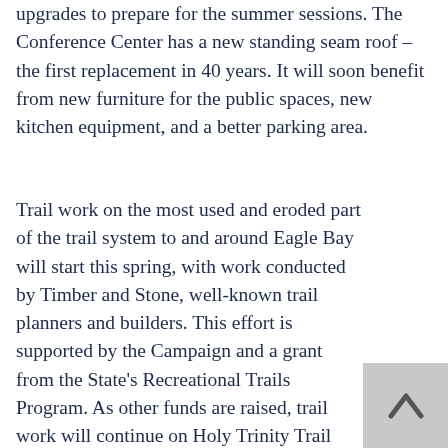upgrades to prepare for the summer sessions. The Conference Center has a new standing seam roof – the first replacement in 40 years. It will soon benefit from new furniture for the public spaces, new kitchen equipment, and a better parking area.
Trail work on the most used and eroded part of the trail system to and around Eagle Bay will start this spring, with work conducted by Timber and Stone, well-known trail planners and builders. This effort is supported by the Campaign and a grant from the State's Recreational Trails Program. As other funds are raised, trail work will continue on Holy Trinity Trail and around the perimeter of the peninsula.